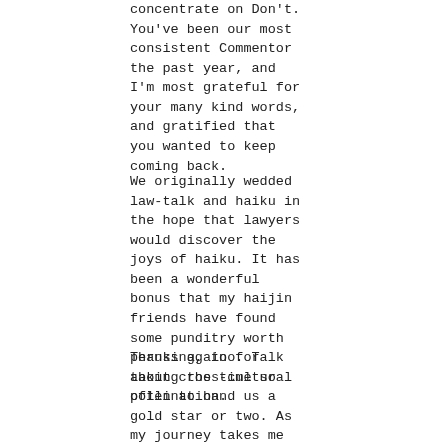concentrate on Don't. You've been our most consistent Commentor the past year, and I'm most grateful for your many kind words, and gratified that you wanted to keep coming back.
We originally wedded law-talk and haiku in the hope that lawyers would discover the joys of haiku. It has been a wonderful bonus that my haijin friends have found some punditry worth perusing, too. Talk about cross-cultural pollination.
Thanks again for taking the time so often to hand us a gold star or two. As my journey takes me to new beginnings yet unknown, I intend to stop by Lilliput and Issa's Hut to enjoy your hospitality.
Comment by David Giacalone — February 28, 2009 @ 6:58 pm